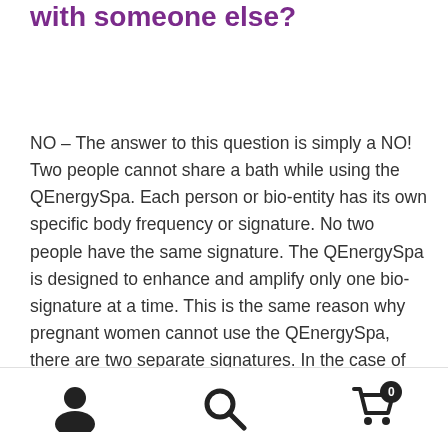with someone else?
NO – The answer to this question is simply a NO! Two people cannot share a bath while using the QEnergySpa. Each person or bio-entity has its own specific body frequency or signature. No two people have the same signature. The QEnergySpa is designed to enhance and amplify only one bio-signature at a time. This is the same reason why pregnant women cannot use the QEnergySpa, there are two separate signatures. In the case of having two separate signatures in a bath while the Qunit is in operation, the unit cannot separate the two signatures and so treats them as one. This could result in an exchange of illness and/or the effect of injury between the two
[user icon] [search icon] [cart icon with badge 0]